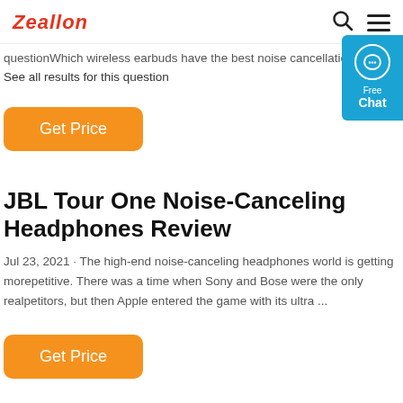Zeallon
questionWhich wireless earbuds have the best noise cancellation? See all results for this question
Get Price
JBL Tour One Noise-Canceling Headphones Review
Jul 23, 2021 · The high-end noise-canceling headphones world is getting morepetitive. There was a time when Sony and Bose were the only realpetitors, but then Apple entered the game with its ultra ...
Get Price